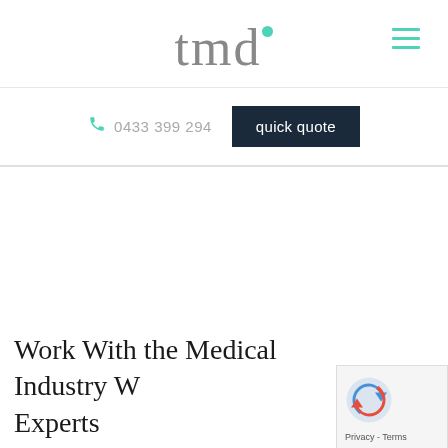tmd
0433 399 294
quick quote
Work With the Medical Industry W Experts